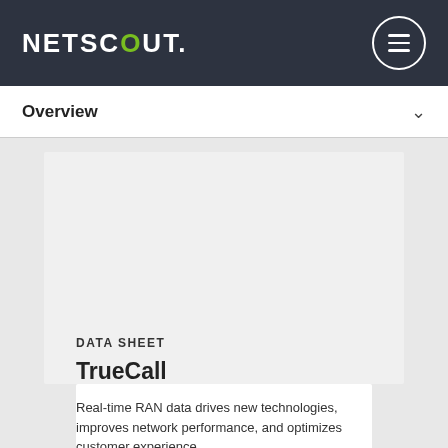NETSCOUT
Overview
[Figure (screenshot): Gray placeholder content area with a white rectangle inset, representing an embedded media or image placeholder]
DATA SHEET
TrueCall
Real-time RAN data drives new technologies, improves network performance, and optimizes customer experience